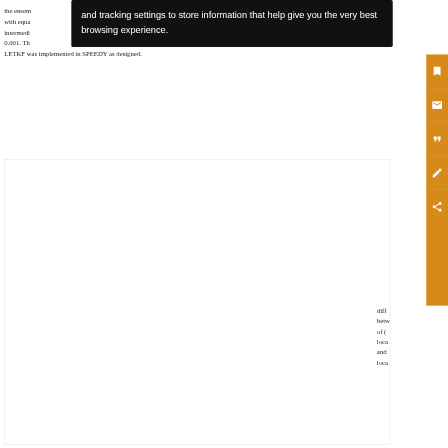the ensemble ... P^b_clm with equal ... duced intermedid ... d α 0.001. Th... id LETKF was implemented in SPEEDY as designed.
[Figure (screenshot): Browser cookie/tracking tooltip overlay with black background, white text reading: 'and tracking settings to store information that help give you the very best browsing experience.']
[Figure (screenshot): Orange sidebar with icons for save, email, cite, annotation, and share actions.]
[Figure (other): White figure/chart area (content not visible due to tooltip overlay).]
diff between of ( loca and loca